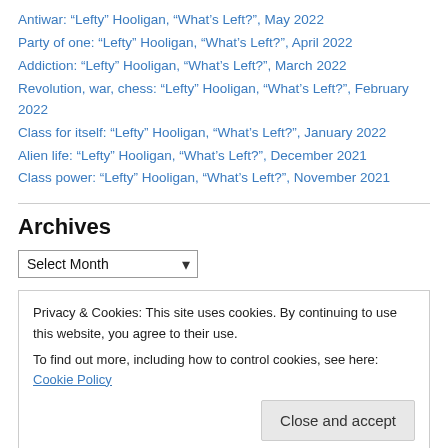Antiwar: “Lefty” Hooligan, “What’s Left?”, May 2022
Party of one: “Lefty” Hooligan, “What’s Left?”, April 2022
Addiction: “Lefty” Hooligan, “What’s Left?”, March 2022
Revolution, war, chess: “Lefty” Hooligan, “What’s Left?”, February 2022
Class for itself: “Lefty” Hooligan, “What’s Left?”, January 2022
Alien life: “Lefty” Hooligan, “What’s Left?”, December 2021
Class power: “Lefty” Hooligan, “What’s Left?”, November 2021
Archives
Select Month (dropdown)
Privacy & Cookies: This site uses cookies. By continuing to use this website, you agree to their use.
To find out more, including how to control cookies, see here: Cookie Policy
Close and accept
Leninism  Maoism  Marxism  Marxism-Leninism